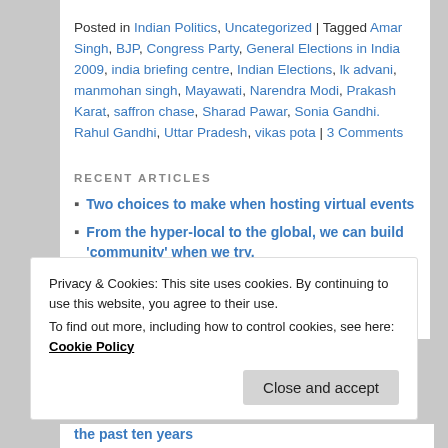Posted in Indian Politics, Uncategorized | Tagged Amar Singh, BJP, Congress Party, General Elections in India 2009, india briefing centre, Indian Elections, lk advani, manmohan singh, Mayawati, Narendra Modi, Prakash Karat, saffron chase, Sharad Pawar, Sonia Gandhi. Rahul Gandhi, Uttar Pradesh, vikas pota | 3 Comments
RECENT ARTICLES
Two choices to make when hosting virtual events
From the hyper-local to the global, we can build 'community' when we try.
'World's biggest education conference' enables schools to share their learning to a huge online audience
Privacy & Cookies: This site uses cookies. By continuing to use this website, you agree to their use. To find out more, including how to control cookies, see here: Cookie Policy
Close and accept
the past ten years